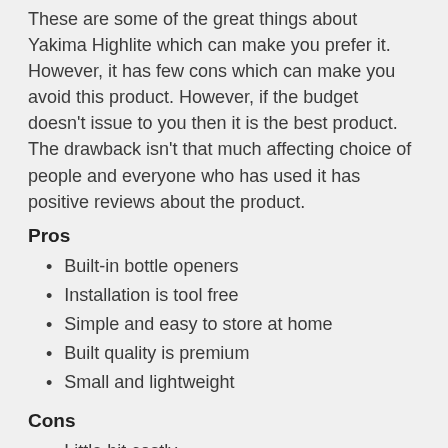These are some of the great things about Yakima Highlite which can make you prefer it. However, it has few cons which can make you avoid this product. However, if the budget doesn't issue to you then it is the best product. The drawback isn't that much affecting choice of people and everyone who has used it has positive reviews about the product.
Pros
Built-in bottle openers
Installation is tool free
Simple and easy to store at home
Built quality is premium
Small and lightweight
Cons
Little bit costly